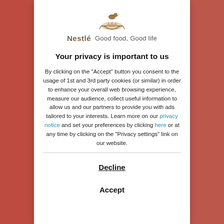[Figure (logo): Nestlé bird's nest logo with bird, text 'Nestlé Good food, Good life']
Your privacy is important to us
By clicking on the "Accept" button you consent to the usage of 1st and 3rd party cookies (or similar) in order to enhance your overall web browsing experience, measure our audience, collect useful information to allow us and our partners to provide you with ads tailored to your interests. Learn more on our privacy notice and set your preferences by clicking here or at any time by clicking on the "Privacy settings" link on our website.
Decline
Accept